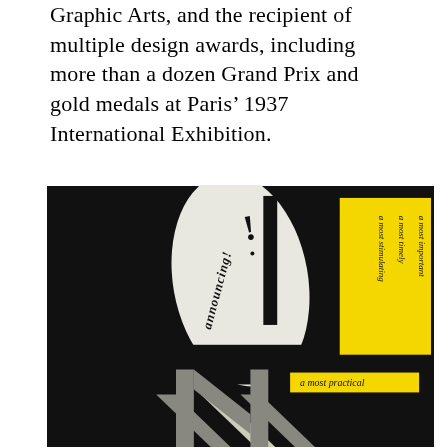Graphic Arts, and the recipient of multiple design awards, including more than a dozen Grand Prix and gold medals at Paris’ 1937 International Exhibition.
[Figure (illustration): A graphic design illustration on a black background featuring bold abstract shapes. A large white leaf/teardrop shape with the word 'announcing!' in italic script, an exclamation mark, and a vertical black bar. On the right side, a yellow rectangle with rotated black text reading 'a most important', 'a most timely', 'a most stimulating'. At the bottom right, a yellow horizontal bar with italic text 'a most practical'. In the lower portion, large gray and white angular letter forms on black background.]